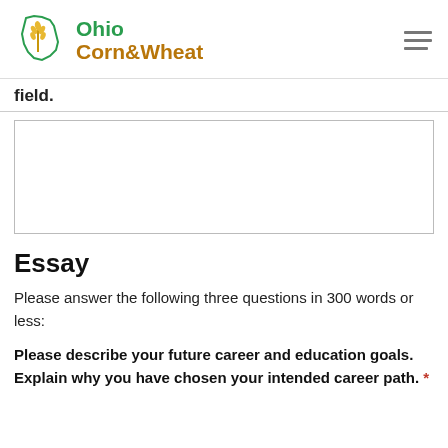[Figure (logo): Ohio Corn & Wheat logo with Ohio state outline and wheat/corn graphic]
field.
(empty textarea input field)
Essay
Please answer the following three questions in 300 words or less:
Please describe your future career and education goals. Explain why you have chosen your intended career path. *